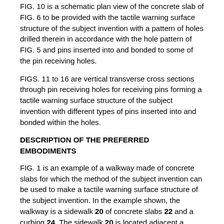FIG. 10 is a schematic plan view of the concrete slab of FIG. 6 to be provided with the tactile warning surface structure of the subject invention with a pattern of holes drilled therein in accordance with the hole pattern of FIG. 5 and pins inserted into and bonded to some of the pin receiving holes.
FIGS. 11 to 16 are vertical transverse cross sections through pin receiving holes for receiving pins forming a tactile warning surface structure of the subject invention with different types of pins inserted into and bonded within the holes.
DESCRIPTION OF THE PREFERRED EMBODIMENTS
FIG. 1 is an example of a walkway made of concrete slabs for which the method of the subject invention can be used to make a tactile warning surface structure of the subject invention. In the example shown, the walkway is a sidewalk 20 of concrete slabs 22 and a curbing 24. The sidewalk 20 is located adjacent a potentially hazardous area for people who are visually impaired or blind, in this case a pedestrian crosswalk 26 crossing a street, to warn them that they are approaching a hazardous area. The